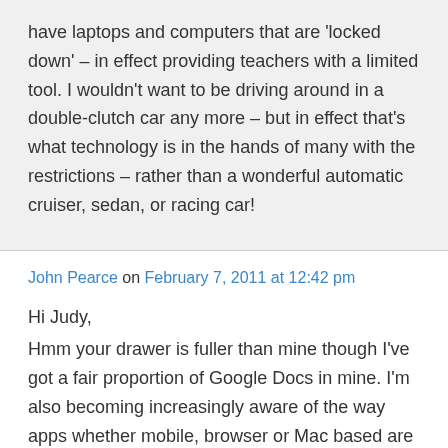have laptops and computers that are 'locked down' – in effect providing teachers with a limited tool. I wouldn't want to be driving around in a double-clutch car any more – but in effect that's what technology is in the hands of many with the restrictions – rather than a wonderful automatic cruiser, sedan, or racing car!
John Pearce on February 7, 2011 at 12:42 pm
Hi Judy,
Hmm your drawer is fuller than mine though I've got a fair proportion of Google Docs in mine. I'm also becoming increasingly aware of the way apps whether mobile, browser or Mac based are